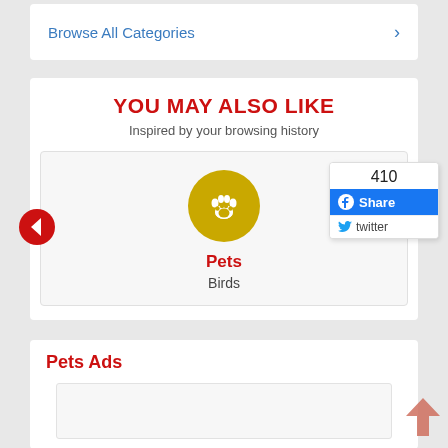Browse All Categories >
YOU MAY ALSO LIKE
Inspired by your browsing history
[Figure (illustration): Yellow circle with white paw print icon]
Pets
Birds
[Figure (infographic): Share box showing 410 count, Facebook Share button, and Twitter button]
Pets Ads